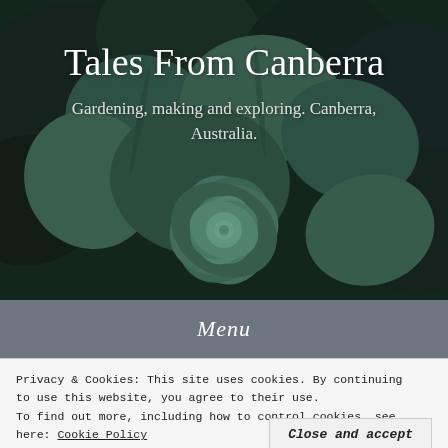[Figure (photo): Close-up photograph of succulent plants with dark green and teal-colored leaves, used as a hero background image for a blog called Tales From Canberra]
Tales From Canberra
Gardening, making and exploring. Canberra, Australia.
Menu
Privacy & Cookies: This site uses cookies. By continuing to use this website, you agree to their use.
To find out more, including how to control cookies, see here: Cookie Policy
Close and accept